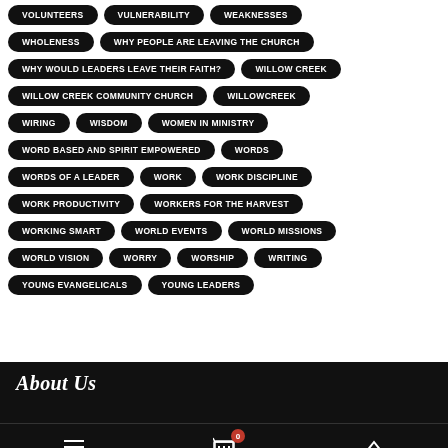VOLUNTEERS
VULNERABILITY
WEAKNESSES
WHOLENESS
WHY PEOPLE ARE LEAVING THE CHURCH
WHY WOULD LEADERS LEAVE THEIR FAITH?
WILLOW CREEK
WILLOW CREEK COMMUNITY CHURCH
WILLOWCREEK
WIRING
WISDOM
WOMEN IN MINISTRY
WORD BASED AND SPIRIT EMPOWERED
WORDS
WORDS OF A LEADER
WORK
WORK DISCIPLINE
WORK PRODUCTIVITY
WORKERS FOR THE HARVEST
WORKING SMART
WORLD EVENTS
WORLD MISSIONS
WORLD VISION
WORRY
WORSHIP
WRITING
YOUNG EVANGELICALS
YOUNG LEADERS
About Us